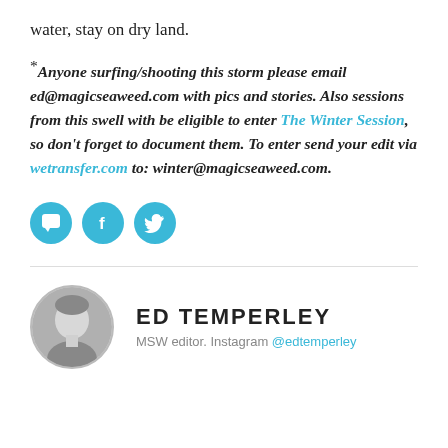water, stay on dry land.
*Anyone surfing/shooting this storm please email ed@magicseaweed.com with pics and stories. Also sessions from this swell with be eligible to enter The Winter Session, so don't forget to document them. To enter send your edit via wetransfer.com to: winter@magicseaweed.com.
[Figure (infographic): Three cyan circular social media icons: comment bubble, Facebook f, Twitter bird]
ED TEMPERLEY
MSW editor. Instagram @edtemperley